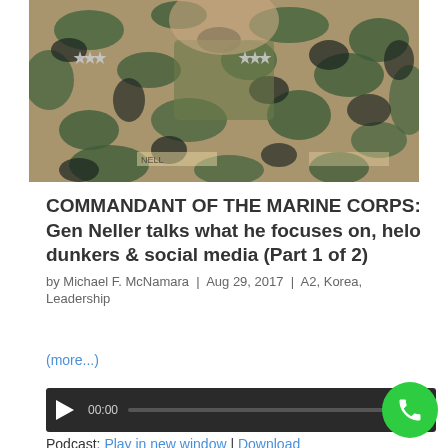[Figure (photo): Close-up photo of a military officer in digital camouflage uniform (MARPAT), showing chest and collar area with rank insignia stars visible on both collars. Name tape partially visible. Green undershirt visible at collar.]
COMMANDANT OF THE MARINE CORPS: Gen Neller talks what he focuses on, helo dunkers & social media (Part 1 of 2)
by Michael F. McNamara | Aug 29, 2017 | A2, Korea, Leadership
(more...)
[Figure (other): Audio podcast player widget with dark background, play button, time display (00:00), progress bar, and end time. Podcast links below.]
Podcast: Play in new window | Download